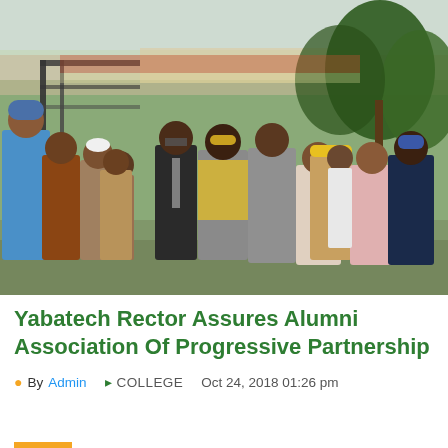[Figure (photo): Group photo of approximately 15 men standing outdoors near a metal gate and trees. Several are wearing traditional Nigerian attire including agbada and caps. Two men in the center stand out — one in a dark suit with a tie, another in a yellow top with a grey/striped outfit. The background shows a sports stadium track and lush trees.]
Yabatech Rector Assures Alumni Association Of Progressive Partnership
By Admin   COLLEGE   Oct 24, 2018 01:26 pm